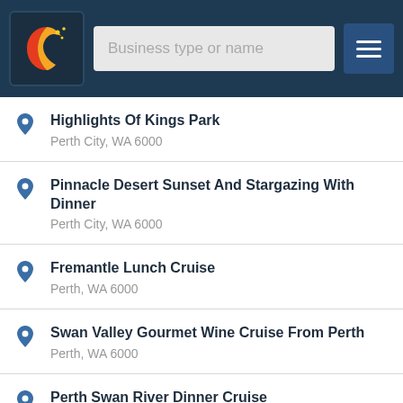[Figure (screenshot): Mobile app header with logo, search bar labeled 'Business type or name', and hamburger menu button on dark navy background]
Highlights Of Kings Park
Perth City, WA 6000
Pinnacle Desert Sunset And Stargazing With Dinner
Perth City, WA 6000
Fremantle Lunch Cruise
Perth, WA 6000
Swan Valley Gourmet Wine Cruise From Perth
Perth, WA 6000
Perth Swan River Dinner Cruise
Perth, WA 6000